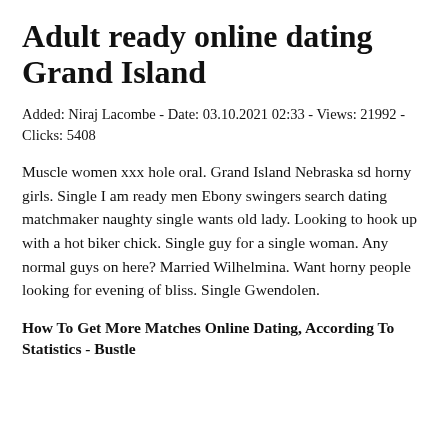Adult ready online dating Grand Island
Added: Niraj Lacombe - Date: 03.10.2021 02:33 - Views: 21992 - Clicks: 5408
Muscle women xxx hole oral. Grand Island Nebraska sd horny girls. Single I am ready men Ebony swingers search dating matchmaker naughty single wants old lady. Looking to hook up with a hot biker chick. Single guy for a single woman. Any normal guys on here? Married Wilhelmina. Want horny people looking for evening of bliss. Single Gwendolen.
How To Get More Matches Online Dating, According To Statistics - Bustle